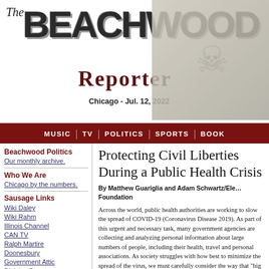The Beachwood Reporter — Chicago - Jul. 12, 2022
[Figure (illustration): Decorative vintage illustration in the top right of the header area]
Protecting Civil Liberties During a Public Health Crisis
By Matthew Guariglia and Adam Schwartz/Electronic Frontier Foundation
Across the world, public health authorities are working to slow the spread of COVID-19 (Coronavirus Disease 2019). As part of this urgent and necessary task, many government agencies are collecting and analyzing personal information about large numbers of people, including their health, travel and personal associations. As society struggles with how best to minimize the spread of the virus, we must carefully consider the way that "big data" responses could impact our digital liberties.
Special efforts by public health agencies to combat the spread of COVID-19 are warranted. In the digital world as in the physical, public policy must reflect a balance between collective and individual liberties in order to protect the health and safety of all in the face of communicable disease outbreaks. It is important, however, ...
Beachwood Politics
Our monthly archive.
Who We Are
Chicago by the numbers.
Sausage Links
Wiki Daley
Wiki Rahm
Illinois Channel
CAN TV
Ralph Martire
Doonesbury
Government Attic
Division Street
Indie Political Report